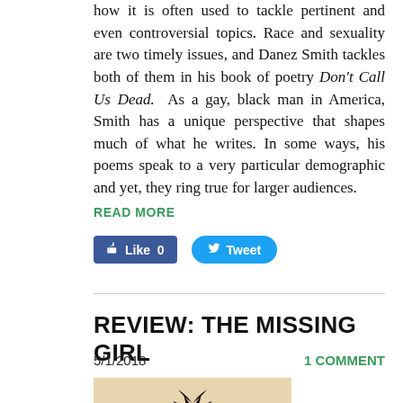how it is often used to tackle pertinent and even controversial topics. Race and sexuality are two timely issues, and Danez Smith tackles both of them in his book of poetry Don't Call Us Dead. As a gay, black man in America, Smith has a unique perspective that shapes much of what he writes. In some ways, his poems speak to a very particular demographic and yet, they ring true for larger audiences.
READ MORE
[Figure (screenshot): Social media buttons: Facebook Like (0) and Twitter Tweet]
REVIEW: THE MISSING GIRL
5/1/2018    1 COMMENT
[Figure (photo): Book cover image with feather/plant illustration on tan background]